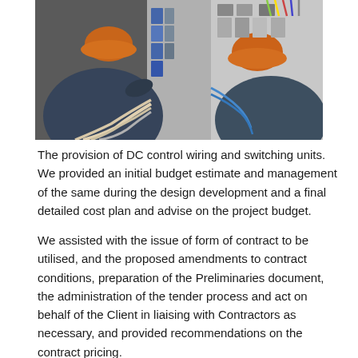[Figure (photo): Two workers wearing orange hard hats working on an electrical panel/control cabinet with wiring and switching units.]
The provision of DC control wiring and switching units. We provided an initial budget estimate and management of the same during the design development and a final detailed cost plan and advise on the project budget.
We assisted with the issue of form of contract to be utilised, and the proposed amendments to contract conditions, preparation of the Preliminaries document, the administration of the tender process and act on behalf of the Client in liaising with Contractors as necessary, and provided recommendations on the contract pricing.